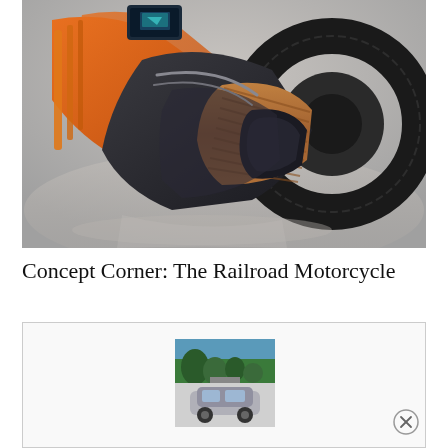[Figure (photo): Close-up render of a futuristic motorcycle wheel/hub showing orange and dark metallic components, copper-colored motor coils, a large black tire with tread detail, and a reflective dark surface beneath. The design appears to be an in-wheel electric motor concept.]
Concept Corner: The Railroad Motorcycle
[Figure (photo): Advertisement box with a small embedded image showing a vehicle (appears to be an automotive ad), partially visible with a close button (X) on the right side.]